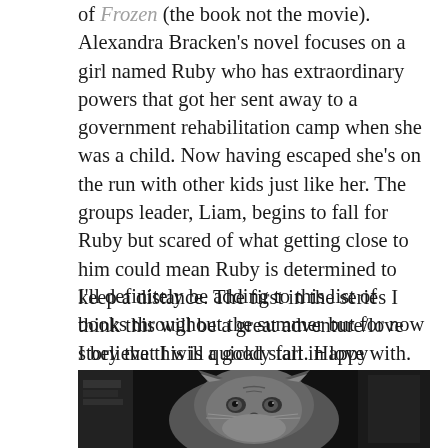of Frozen (the book not the movie). Alexandra Bracken's novel focuses on a girl named Ruby who has extraordinary powers that got her sent away to a government rehabilitation camp when she was a child. Now having escaped she's on the run with other kids just like her. The groups leader, Liam, begins to fall for Ruby but scared of what getting close to him could mean Ruby is determined to keep a distance. The first in the series I think this will be a great adventure/love story that I will quickly fall in love with.
I'll definitely be adding to this list of books throughout the summer but for now I believe this is a good start. Happy reading!
[Figure (photo): Black and white photo of a cat looking at the camera, with some books or objects visible in the dark background.]